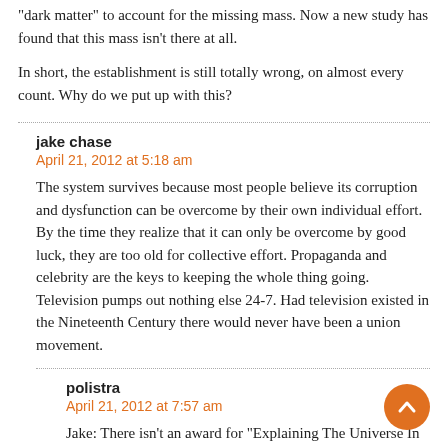“dark matter” to account for the missing mass. Now a new study has found that this mass isn’t there at all.
In short, the establishment is still totally wrong, on almost every count. Why do we put up with this?
jake chase
April 21, 2012 at 5:18 am
The system survives because most people believe its corruption and dysfunction can be overcome by their own individual effort. By the time they realize that it can only be overcome by good luck, they are too old for collective effort. Propaganda and celebrity are the keys to keeping the whole thing going. Television pumps out nothing else 24-7. Had television existed in the Nineteenth Century there would never have been a union movement.
polistra
April 21, 2012 at 7:57 am
Jake: There isn’t an award for “Explaining The Universe In 73 Words”, but if it existed, you would’ve won it!